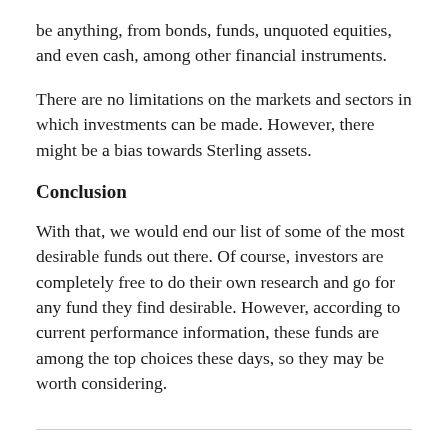be anything, from bonds, funds, unquoted equities, and even cash, among other financial instruments.
There are no limitations on the markets and sectors in which investments can be made. However, there might be a bias towards Sterling assets.
Conclusion
With that, we would end our list of some of the most desirable funds out there. Of course, investors are completely free to do their own research and go for any fund they find desirable. However, according to current performance information, these funds are among the top choices these days, so they may be worth considering.